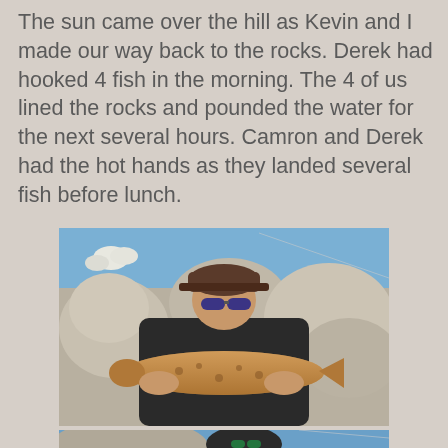[Figure (photo): Top portion of a photo, partially visible at the top of the page showing an outdoor rocky scene]
The sun came over the hill as Kevin and I made our way back to the rocks. Derek had hooked 4 fish in the morning. The 4 of us lined the rocks and pounded the water for the next several hours. Camron and Derek had the hot hands as they landed several fish before lunch.
[Figure (photo): A man wearing a dark cap and sunglasses holds up a large brown/golden trout with both hands, standing in front of large white and grey rocky boulders under a blue sky.]
[Figure (photo): Partial view of a man wearing a dark baseball cap with sunglasses, outdoors near rocks under blue sky, photo cut off at bottom of page.]